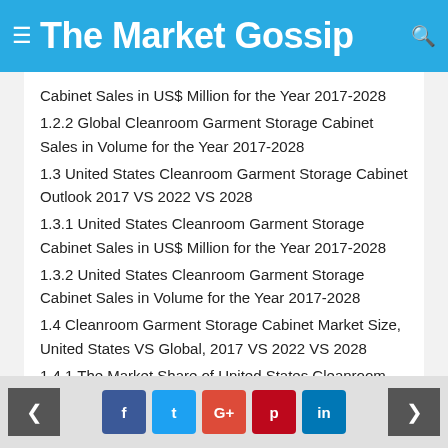The Market Gossip
Cabinet Sales in US$ Million for the Year 2017-2028
1.2.2 Global Cleanroom Garment Storage Cabinet Sales in Volume for the Year 2017-2028
1.3 United States Cleanroom Garment Storage Cabinet Outlook 2017 VS 2022 VS 2028
1.3.1 United States Cleanroom Garment Storage Cabinet Sales in US$ Million for the Year 2017-2028
1.3.2 United States Cleanroom Garment Storage Cabinet Sales in Volume for the Year 2017-2028
1.4 Cleanroom Garment Storage Cabinet Market Size, United States VS Global, 2017 VS 2022 VS 2028
1.4.1 The Market Share of United States Cleanroom Garment Storage Cabinet in Global, 2017 VS 2022 VS 2028
< f t G+ p in >